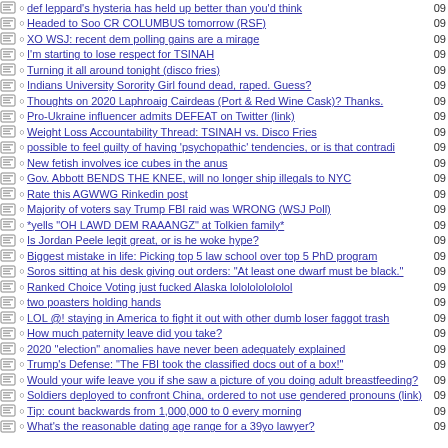def leppard's hysteria has held up better than you'd think
Headed to Soo CR COLUMBUS tomorrow (RSF)
XO WSJ: recent dem polling gains are a mirage
I'm starting to lose respect for TSINAH
Turning it all around tonight (disco fries)
Indians University Sorority Girl found dead, raped. Guess?
Thoughts on 2020 Laphroaig Cairdeas (Port & Red Wine Cask)? Thanks.
Pro-Ukraine influencer admits DEFEAT on Twitter (link)
Weight Loss Accountability Thread: TSINAH vs. Disco Fries
possible to feel guilty of having 'psychopathic' tendencies, or is that contradi
New fetish involves ice cubes in the anus
Gov. Abbott BENDS THE KNEE, will no longer ship illegals to NYC
Rate this AGWWG Rinkedin post
Majority of voters say Trump FBI raid was WRONG (WSJ Poll)
*yells "OH LAWD DEM RAAANGZ" at Tolkien family*
Is Jordan Peele legit great, or is he woke hype?
Biggest mistake in life: Picking top 5 law school over top 5 PhD program
Soros sitting at his desk giving out orders: "At least one dwarf must be black."
Ranked Choice Voting just fucked Alaska lololololololol
two poasters holding hands
LOL @! staying in America to fight it out with other dumb loser faggot trash
How much paternity leave did you take?
2020 "election" anomalies have never been adequately explained
Trump's Defense: "The FBI took the classified docs out of a box!"
Would your wife leave you if she saw a picture of you doing adult breastfeeding?
Soldiers deployed to confront China, ordered to not use gendered pronouns (link)
Tip: count backwards from 1,000,000 to 0 every morning
What's the reasonable dating age range for a 39yo lawyer?